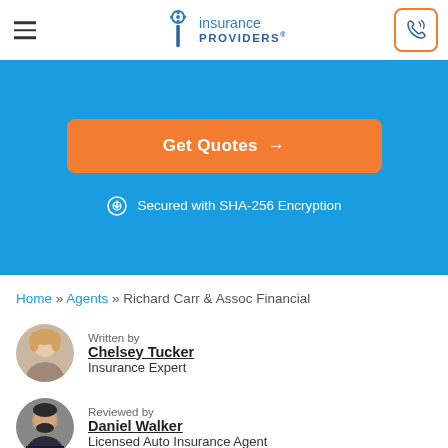[Figure (logo): Insurance Providers logo with hamburger menu and phone button in header]
Get Quotes →
Secured with SHA-256 Encryption
Home » Agents » Richard Carr & Assoc Financial
Written by
Chelsey Tucker
Insurance Expert
Reviewed by
Daniel Walker
Licensed Auto Insurance Agent